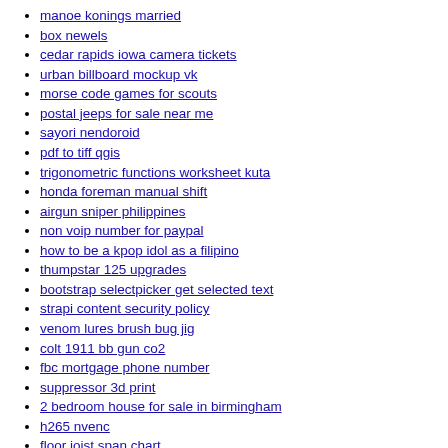manoe konings married
box newels
cedar rapids iowa camera tickets
urban billboard mockup vk
morse code games for scouts
postal jeeps for sale near me
sayori nendoroid
pdf to tiff qgis
trigonometric functions worksheet kuta
honda foreman manual shift
airgun sniper philippines
non voip number for paypal
how to be a kpop idol as a filipino
thumpstar 125 upgrades
bootstrap selectpicker get selected text
strapi content security policy
venom lures brush bug jig
colt 1911 bb gun co2
fbc mortgage phone number
suppressor 3d print
2 bedroom house for sale in birmingham
h265 nvenc
floor joist span chart
what is 3d nft
bitburner fulcrum faction